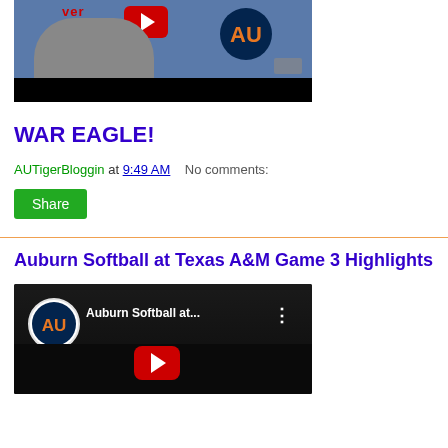[Figure (screenshot): YouTube video thumbnail showing a person in Auburn gear being interviewed against an Auburn/Verizon backdrop]
WAR EAGLE!
AUTigerBloggin at 9:49 AM   No comments:
Share
Auburn Softball at Texas A&M Game 3 Highlights
[Figure (screenshot): YouTube video thumbnail for Auburn Softball at Texas A&M game highlights, showing Auburn logo circle and red play button]